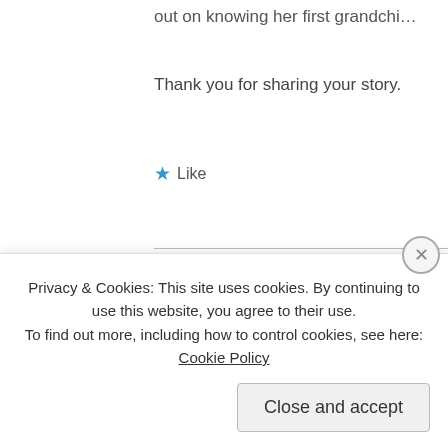out on knowing her first grandchi…
Thank you for sharing your story.
★ Like
[Figure (photo): Profile photo of dlgreene showing a man and woman posing together]
dlgreene
November 12, 20…
I'm so sorry fo… standing with y… to me. And kn…
★ Like
Privacy & Cookies: This site uses cookies. By continuing to use this website, you agree to their use.
To find out more, including how to control cookies, see here: Cookie Policy
Close and accept